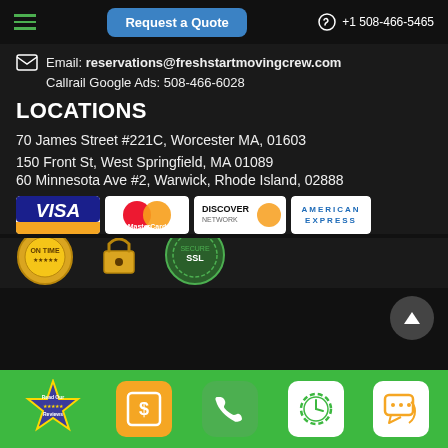Request a Quote  +1 508-466-5465
Email: reservations@freshstartmovingcrew.com
Callrail Google Ads: 508-466-6028
LOCATIONS
70 James Street #221C, Worcester MA, 01603
150 Front St, West Springfield, MA 01089
60 Minnesota Ave #2, Warwick, Rhode Island, 02888
[Figure (logo): Payment method logos: Visa, MasterCard, Discover Network, American Express]
[Figure (infographic): Trust badges: award seal, padlock security, SSL certificate]
[Figure (infographic): Bottom navigation bar with Read Our Reviews badge, dollar sign quote icon, phone icon, clock icon, chat icon]